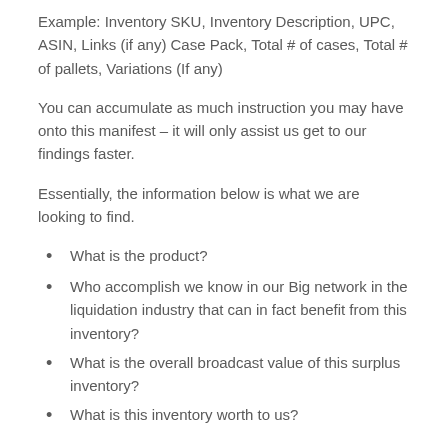Example: Inventory SKU, Inventory Description, UPC, ASIN, Links (if any) Case Pack, Total # of cases, Total # of pallets, Variations (If any)
You can accumulate as much instruction you may have onto this manifest – it will only assist us get to our findings faster.
Essentially, the information below is what we are looking to find.
What is the product?
Who accomplish we know in our Big network in the liquidation industry that can in fact benefit from this inventory?
What is the overall broadcast value of this surplus inventory?
What is this inventory worth to us?